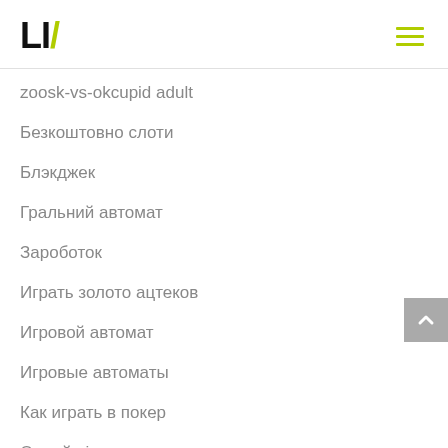LIV
zoosk-vs-okcupid adult
Безкоштовно слоти
Блэкджек
Гральний автомат
Зароботок
Играть золото ацтеков
Игровой автомат
Игровые автоматы
Как играть в покер
Онлайн ігри
Онлайн казино
Остров Сардиния